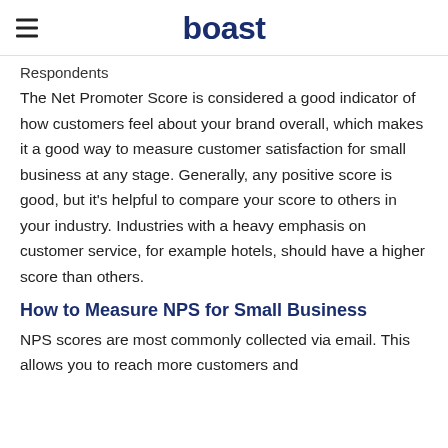boast
Respondents
The Net Promoter Score is considered a good indicator of how customers feel about your brand overall, which makes it a good way to measure customer satisfaction for small business at any stage. Generally, any positive score is good, but it's helpful to compare your score to others in your industry. Industries with a heavy emphasis on customer service, for example hotels, should have a higher score than others.
How to Measure NPS for Small Business
NPS scores are most commonly collected via email. This allows you to reach more customers and